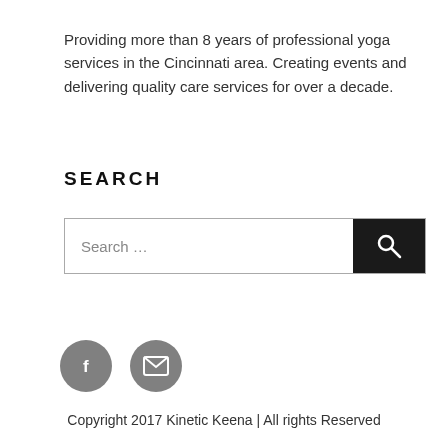Providing more than 8 years of professional yoga services in the Cincinnati area. Creating events and delivering quality care services for over a decade.
SEARCH
[Figure (screenshot): Search input box with a dark search button containing a magnifying glass icon]
[Figure (other): Two circular social media icons: a Facebook icon and an email/envelope icon, both in grey]
Copyright 2017 Kinetic Keena | All rights Reserved